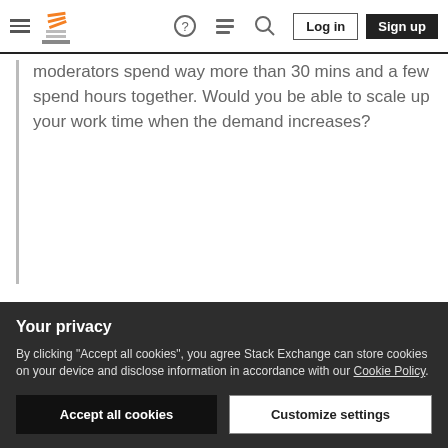Stack Overflow navigation bar with hamburger menu, logo, help, chat, search icons, Log in and Sign up buttons
moderators spend way more than 30 mins and a few spend hours together. Would you be able to scale up your work time when the demand increases?
Yes. I can handle the time commitment needed for this position. I've run for moderator previously and am well aware of the work and time that the Stack Overflow moderators put in to this position. I can handle the required time expectations. Additionally, I
Your privacy
By clicking "Accept all cookies", you agree Stack Exchange can store cookies on your device and disclose information in accordance with our Cookie Policy.
moderator and no matter how